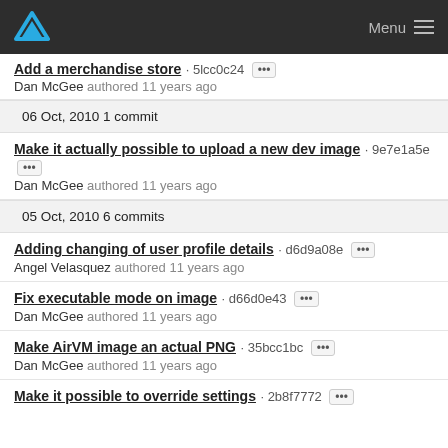Menu
Add a merchandise store · 5lcc0c24 ··· Dan McGee authored 11 years ago
06 Oct, 2010 1 commit
Make it actually possible to upload a new dev image · 9e7e1a5e ··· Dan McGee authored 11 years ago
05 Oct, 2010 6 commits
Adding changing of user profile details · d6d9a08e ··· Angel Velasquez authored 11 years ago
Fix executable mode on image · d66d0e43 ··· Dan McGee authored 11 years ago
Make AirVM image an actual PNG · 35bcc1bc ··· Dan McGee authored 11 years ago
Make it possible to override settings · 2b8f7772 ···